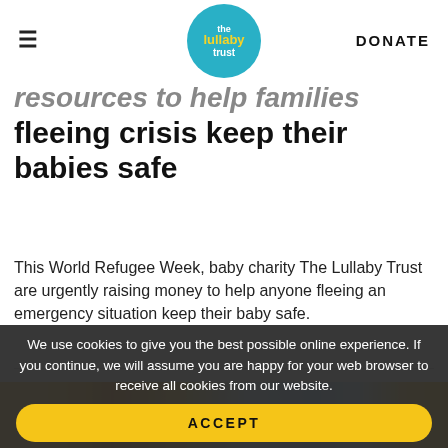≡   [The Lullaby Trust logo]   DONATE
resources to help families fleeing crisis keep their babies safe
This World Refugee Week, baby charity The Lullaby Trust are urgently raising money to help anyone fleeing an emergency situation keep their baby safe.
[Figure (illustration): Colorful illustrated image strip with yellow, orange, and blue tones, partially visible at the bottom of the page]
We use cookies to give you the best possible online experience. If you continue, we will assume you are happy for your web browser to receive all cookies from our website.
ACCEPT